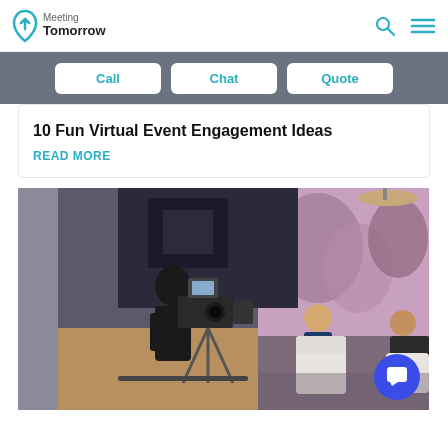Meeting Tomorrow
Call  Chat  Quote
10 Fun Virtual Event Engagement Ideas
READ MORE
[Figure (photo): A videographer operating a professional camera on a tripod in a studio, filming two men seated in white chairs having a conversation. The background shows a purple/pink floral nature mural with a hanging lamp.]